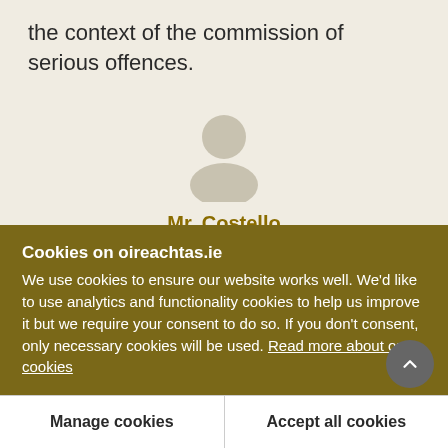the context of the commission of serious offences.
[Figure (illustration): Generic user/person avatar icon — grey silhouette of a head and shoulders on a light beige background]
Mr. Costello
The Minister has been eminently reasonable in
Cookies on oireachtas.ie
We use cookies to ensure our website works well. We'd like to use analytics and functionality cookies to help us improve it but we require your consent to do so. If you don't consent, only necessary cookies will be used. Read more about our cookies
Manage cookies
Accept all cookies